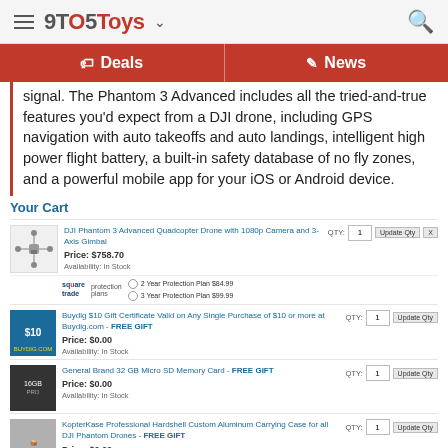9TO5Toys
Deals | News
signal. The Phantom 3 Advanced includes all the tried-and-true features you'd expect from a DJI drone, including GPS navigation with auto takeoffs and auto landings, intelligent high power flight battery, a built-in safety database of no fly zones, and a powerful mobile app for your iOS or Android device.
Your Cart
| Item | Price | Availability | QTY | Actions |
| --- | --- | --- | --- | --- |
| DJI Phantom 3 Advanced Quadcopter Drone with 1080p Camera and 3-Axis Gimbal | Price: $758.70 | Availability: In Stock | 1 | Update Qty | X |
| Buydig $10 Gift Certificate Valid on Any Single Purchase of $10 or more at Buydig.com - FREE GIFT | Price: $0.00 | Availability: In Stock | 1 | Update Qty |
| General Brand 32 GB Micro SD Memory Card - FREE GIFT | Price: $0.00 | Availability: In Stock | 1 | Update Qty |
| KopterKase Professional Hardshell Custom Aluminum Carrying Case for all DJI Phantom Drones - FREE GIFT | Price: $0.00 | Availability: In Stock | 1 | Update Qty |